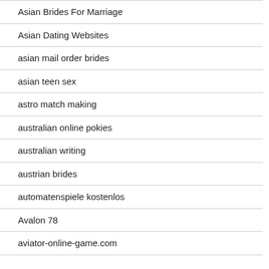Asian Brides For Marriage
Asian Dating Websites
asian mail order brides
asian teen sex
astro match making
australian online pokies
australian writing
austrian brides
automatenspiele kostenlos
Avalon 78
aviator-online-game.com